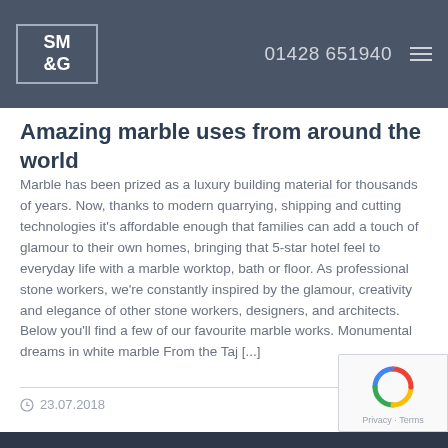SM&G  01428 651940
Amazing marble uses from around the world
Marble has been prized as a luxury building material for thousands of years. Now, thanks to modern quarrying, shipping and cutting technologies it's affordable enough that families can add a touch of glamour to their own homes, bringing that 5-star hotel feel to everyday life with a marble worktop, bath or floor. As professional stone workers, we're constantly inspired by the glamour, creativity and elegance of other stone workers, designers, and architects. Below you'll find a few of our favourite marble works. Monumental dreams in white marble From the Taj [...]
23.07.2018